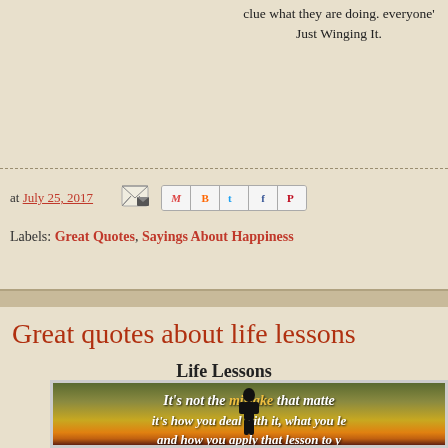clue what they are doing. everyone'
Just Winging It.
at July 25, 2017
Labels: Great Quotes, Sayings About Happiness
Great quotes about life lessons
Life Lessons
[Figure (photo): Inspirational quote image with dark olive/sunset background and silhouette of a person. Text reads: 'It's not the mistake that matte... it's how you deal with it, what you le... and how you apply that lesson to y...' The word 'mistake' is in yellow.]